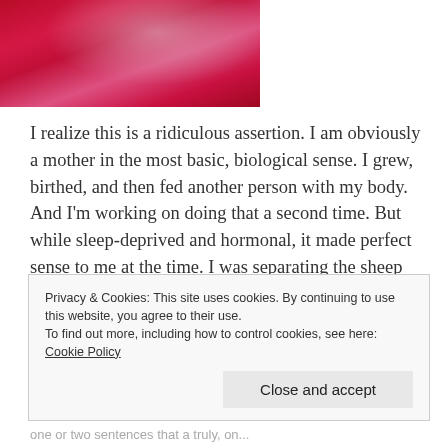[Figure (photo): Partial photo showing a red/pink rounded object (appears to be a slide or curved surface), cropped at top of page]
I realize this is a ridiculous assertion. I am obviously a mother in the most basic, biological sense. I grew, birthed, and then fed another person with my body. And I'm working on doing that a second time. But while sleep-deprived and hormonal, it made perfect sense to me at the time. I was separating the sheep from the goats in my own head, the sheep being the mothers who make DIY presents for their sons' preschool teachers
Privacy & Cookies: This site uses cookies. By continuing to use this website, you agree to their use.
To find out more, including how to control cookies, see here: Cookie Policy
Close and accept